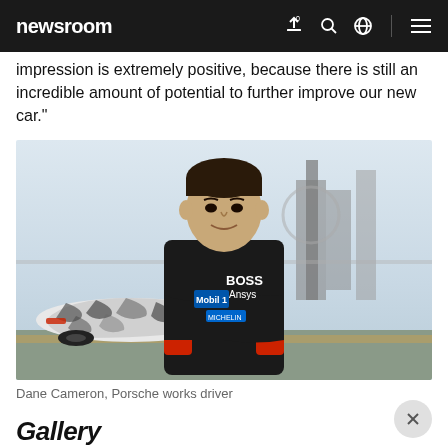newsroom
impression is extremely positive, because there is still an incredible amount of potential to further improve our new car."
[Figure (photo): Dane Cameron, Porsche works driver, standing with arms crossed in a black racing suit with Mobil 1, BOSS, Ansys, and Michelin logos, with a camouflage-wrapped Porsche LMDh prototype car visible in the background on a racing circuit.]
Dane Cameron, Porsche works driver
Gallery